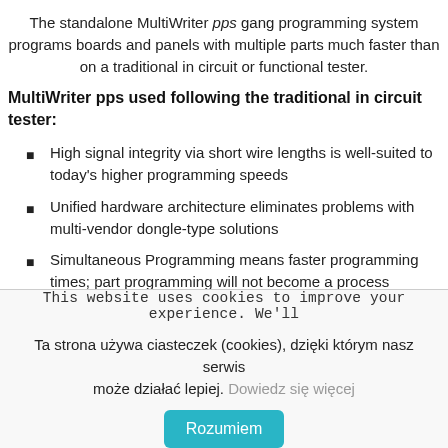The standalone MultiWriter pps gang programming system programs boards and panels with multiple parts much faster than on a traditional in circuit or functional tester.
MultiWriter pps used following the traditional in circuit tester:
High signal integrity via short wire lengths is well-suited to today's higher programming speeds
Unified hardware architecture eliminates problems with multi-vendor dongle-type solutions
Simultaneous Programming means faster programming times; part programming will not become a process bottleneck.
This website uses cookies to improve your experience. We'll
Ta strona używa ciasteczek (cookies), dzięki którym nasz serwis może działać lepiej. Dowiedz się więcej
Rozumiem